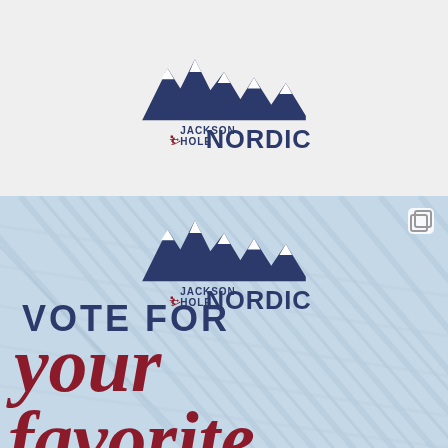[Figure (logo): Jackson Hole Nordic logo on light gray background — mountain silhouette in dark blue/navy with text 'JACKSON HOLE NORDIC' below]
[Figure (infographic): Jackson Hole Nordic promotional image with ski trail texture background. Logo at top center, copy/share icon at top right. Text reads 'VOTE FOR your favorite' in large bold letters. 'VOTE FOR' in dark navy uppercase, 'your' and 'favorite' in large dark red italic serif font.]